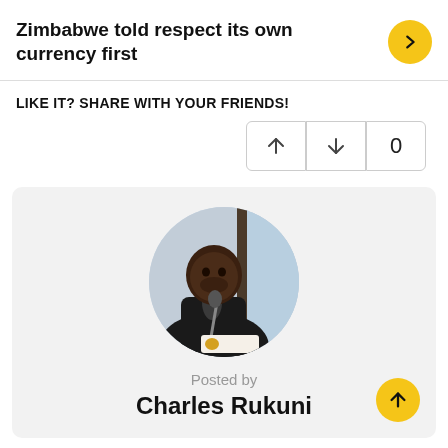Zimbabwe told respect its own currency first
LIKE IT? SHARE WITH YOUR FRIENDS!
[Figure (photo): Circular profile photo of Charles Rukuni seated at a desk with a microphone]
Posted by
Charles Rukuni